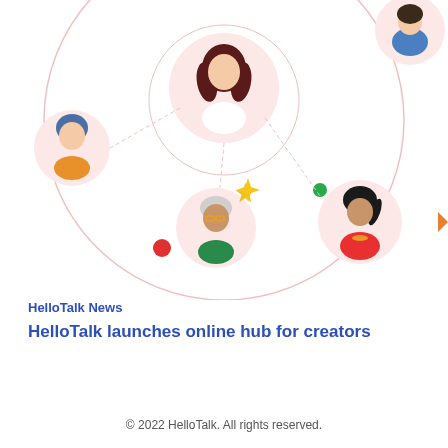[Figure (illustration): Colorful illustrated network of diverse people avatars connected by circular lines, representing a global social language-learning community. Includes avatars of people with different appearances in circular portrait frames, connected by a large pink circle outline. Decorative elements include a yellow sparkle star, a red dot, and a green dot scattered around the illustration.]
HelloTalk News
HelloTalk launches online hub for creators
© 2022 HelloTalk. All rights reserved.